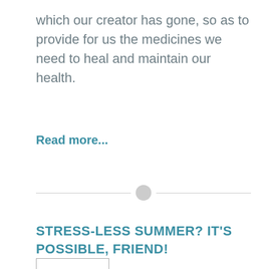which our creator has gone, so as to provide for us the medicines we need to heal and maintain our health.
Read more...
STRESS-LESS SUMMER? IT'S POSSIBLE, FRIEND!
[Figure (other): Small image thumbnail placeholder at bottom of page]